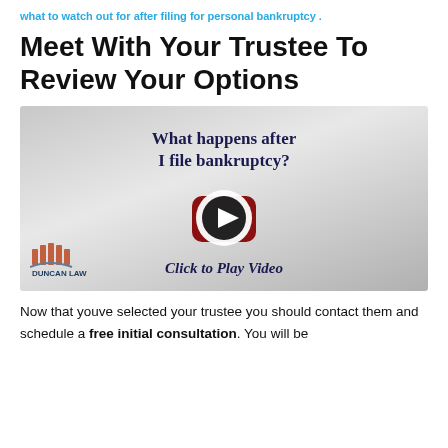what to watch out for after filing for personal bankruptcy .
Meet With Your Trustee To Review Your Options
[Figure (screenshot): Video thumbnail with gray gradient background, text 'What happens after I file bankruptcy?' in dark blue serif font, a large YouTube-style red rounded rectangle play button with white circle and dark play triangle, text 'Click to Play Video' in italic below, and Duncan Law logo with building/column icon in lower left corner.]
Now that youve selected your trustee you should contact them and schedule a free initial consultation. You will be